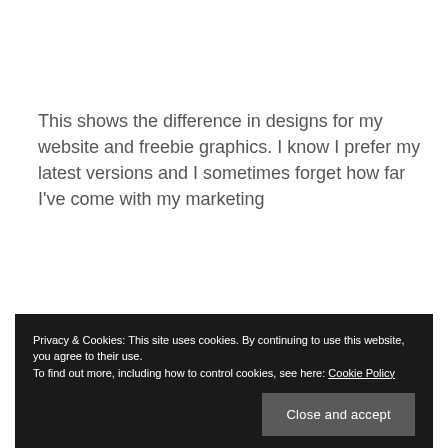This shows the difference in designs for my website and freebie graphics. I know I prefer my latest versions and I sometimes forget how far I've come with my marketing
Privacy & Cookies: This site uses cookies. By continuing to use this website, you agree to their use. To find out more, including how to control cookies, see here: Cookie Policy
Close and accept